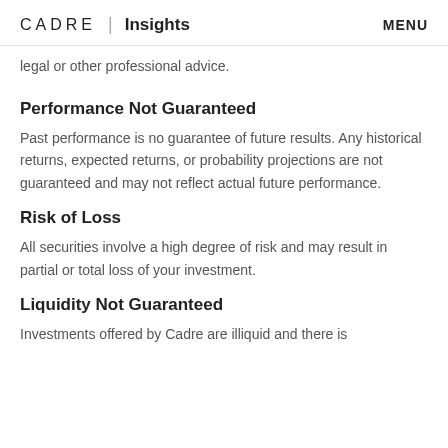CADRE | Insights   MENU
legal or other professional advice.
Performance Not Guaranteed
Past performance is no guarantee of future results. Any historical returns, expected returns, or probability projections are not guaranteed and may not reflect actual future performance.
Risk of Loss
All securities involve a high degree of risk and may result in partial or total loss of your investment.
Liquidity Not Guaranteed
Investments offered by Cadre are illiquid and there is